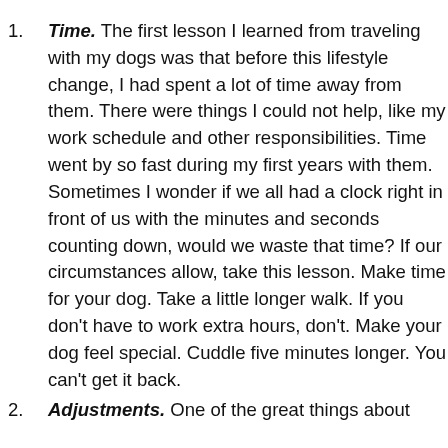Time. The first lesson I learned from traveling with my dogs was that before this lifestyle change, I had spent a lot of time away from them. There were things I could not help, like my work schedule and other responsibilities. Time went by so fast during my first years with them. Sometimes I wonder if we all had a clock right in front of us with the minutes and seconds counting down, would we waste that time? If our circumstances allow, take this lesson. Make time for your dog. Take a little longer walk. If you don't have to work extra hours, don't. Make your dog feel special. Cuddle five minutes longer. You can't get it back.
Adjustments. One of the great things about traveling with my dog is that...